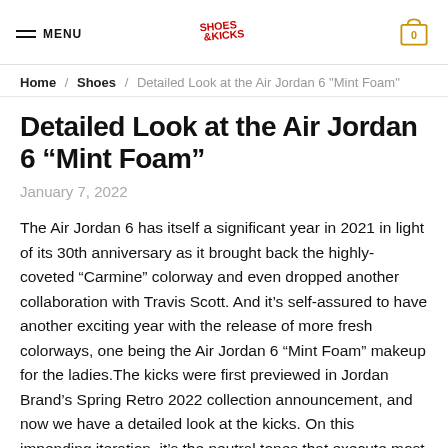MENU | Shoes & Kicks logo | cart: 0
Home / Shoes / Detailed Look at the Air Jordan 6 "Mint Foam"
Detailed Look at the Air Jordan 6 “Mint Foam”
January 7, 2022
The Air Jordan 6 has itself a significant year in 2021 in light of its 30th anniversary as it brought back the highly-coveted “Carmine” colorway and even dropped another collaboration with Travis Scott. And it’s self-assured to have another exciting year with the release of more fresh colorways, one being the Air Jordan 6 “Mint Foam” makeup for the ladies.The kicks were first previewed in Jordan Brand’s Spring Retro 2022 collection announcement, and now we have a detailed look at the kicks. On this impending iteration, it’s the neutral tones that execute most of the